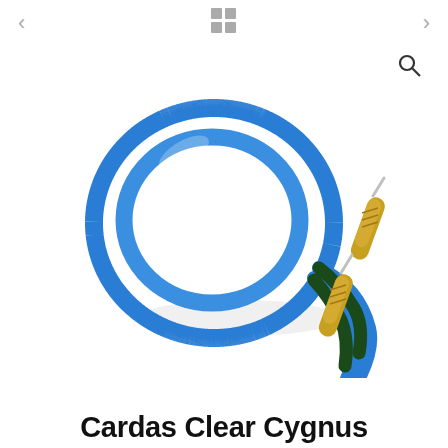[Figure (photo): Cardas Clear Cygnus audio cable with blue insulation coiled in a loop, with two green and gold RCA connectors visible at one end]
Cardas Clear Cygnus